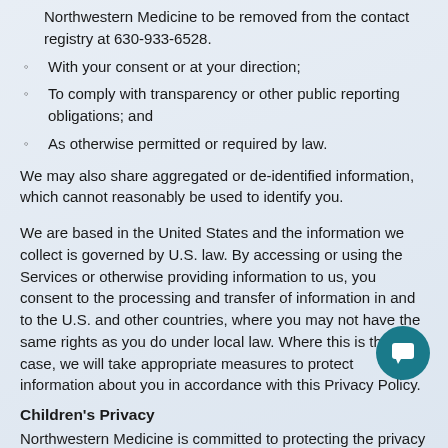Northwestern Medicine to be removed from the contact registry at 630-933-6528.
With your consent or at your direction;
To comply with transparency or other public reporting obligations; and
As otherwise permitted or required by law.
We may also share aggregated or de-identified information, which cannot reasonably be used to identify you.
We are based in the United States and the information we collect is governed by U.S. law. By accessing or using the Services or otherwise providing information to us, you consent to the processing and transfer of information in and to the U.S. and other countries, where you may not have the same rights as you do under local law. Where this is the case, we will take appropriate measures to protect information about you in accordance with this Privacy Policy.
Children's Privacy
Northwestern Medicine is committed to protecting the privacy